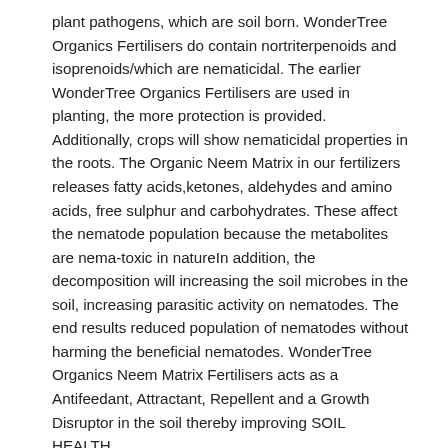plant pathogens, which are soil born. WonderTree Organics Fertilisers do contain nortriterpenoids and isoprenoids/which are nematicidal. The earlier WonderTree Organics Fertilisers are used in planting, the more protection is provided. Additionally, crops will show nematicidal properties in the roots. The Organic Neem Matrix in our fertilizers releases fatty acids,ketones, aldehydes and amino acids, free sulphur and carbohydrates. These affect the nematode population because the metabolites are nema-toxic in natureIn addition, the decomposition will increasing the soil microbes in the soil, increasing parasitic activity on nematodes. The end results reduced population of nematodes without harming the beneficial nematodes. WonderTree Organics Neem Matrix Fertilisers acts as a Antifeedant, Attractant, Repellent and a Growth Disruptor in the soil thereby improving SOIL HEALTH.